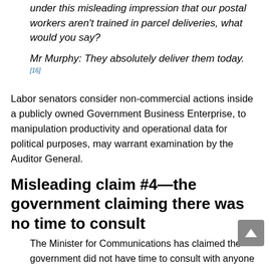under this misleading impression that our postal workers aren't trained in parcel deliveries, what would you say?
Mr Murphy: They absolutely deliver them today. [16]
Labor senators consider non-commercial actions inside a publicly owned Government Business Enterprise, to manipulation productivity and operational data for political purposes, may warrant examination by the Auditor General.
Misleading claim #4—the government claiming there was no time to consult
The Minister for Communications has claimed the government did not have time to consult with anyone because the circumstances were so urgent. [17]
However, Australia Post wrote to members of